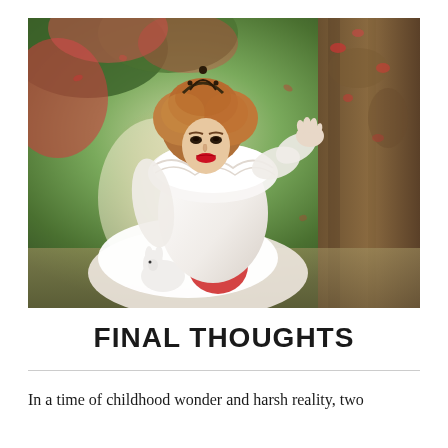[Figure (photo): A woman dressed in an elaborate white Elizabethan-style costume with a large lace ruff collar and ornate auburn upswept hair adorned with a dark crown/headpiece. She has red lips and is reaching out with one hand toward the viewer. She sits in a fantasy forest setting with pink/red foliage and a large tree trunk on the right, with a white rabbit visible near her lap and a red object partially visible.]
FINAL THOUGHTS
In a time of childhood wonder and harsh reality, two